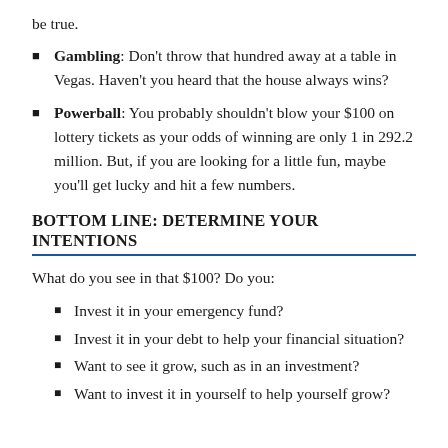be true.
Gambling: Don't throw that hundred away at a table in Vegas. Haven't you heard that the house always wins?
Powerball: You probably shouldn't blow your $100 on lottery tickets as your odds of winning are only 1 in 292.2 million. But, if you are looking for a little fun, maybe you'll get lucky and hit a few numbers.
BOTTOM LINE: DETERMINE YOUR INTENTIONS
What do you see in that $100? Do you:
Invest it in your emergency fund?
Invest it in your debt to help your financial situation?
Want to see it grow, such as in an investment?
Want to invest it in yourself to help yourself grow?